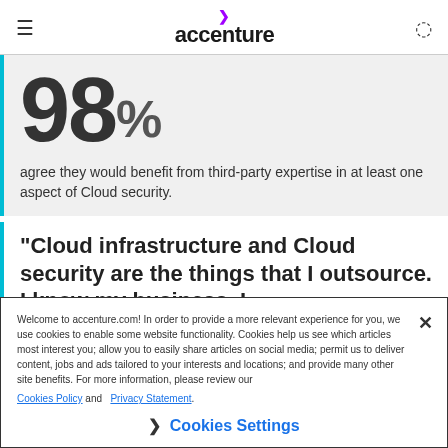accenture
[Figure (infographic): Large bold stat: 98% with description 'agree they would benefit from third-party expertise in at least one aspect of Cloud security.' on grey background with cyan left border.]
agree they would benefit from third-party expertise in at least one aspect of Cloud security.
"Cloud infrastructure and Cloud security are the things that I outsource. I know my business, I
Welcome to accenture.com! In order to provide a more relevant experience for you, we use cookies to enable some website functionality. Cookies help us see which articles most interest you; allow you to easily share articles on social media; permit us to deliver content, jobs and ads tailored to your interests and locations; and provide many other site benefits. For more information, please review our Cookies Policy and Privacy Statement.
Cookies Settings